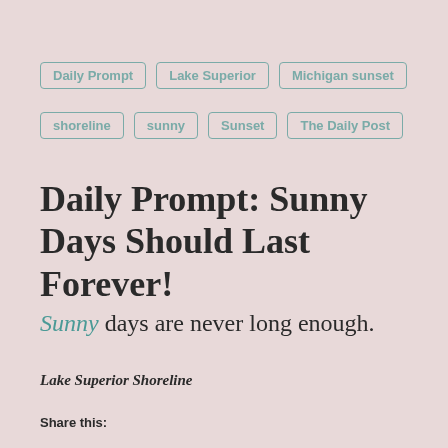Daily Prompt
Lake Superior
Michigan sunset
shoreline
sunny
Sunset
The Daily Post
Daily Prompt: Sunny Days Should Last Forever!
Sunny days are never long enough.
Lake Superior Shoreline
Share this: